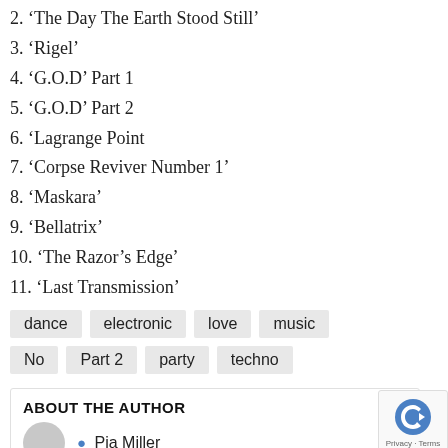2. ‘The Day The Earth Stood Still’
3. ‘Rigel’
4. ‘G.O.D’ Part 1
5. ‘G.O.D’ Part 2
6. ‘Lagrange Point
7. ‘Corpse Reviver Number 1’
8. ‘Maskara’
9. ‘Bellatrix’
10. ‘The Razor’s Edge’
11. ‘Last Transmission’
dance  electronic  love  music  No  Part 2  party  techno
ABOUT THE AUTHOR
Pia Miller